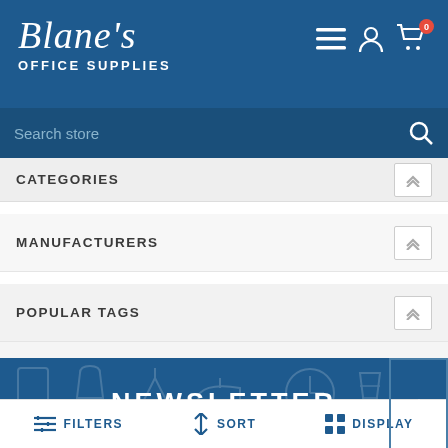Blane's OFFICE SUPPLIES
Search store
CATEGORIES
MANUFACTURERS
POPULAR TAGS
NEWSLETTER
FILTERS  SORT  DISPLAY